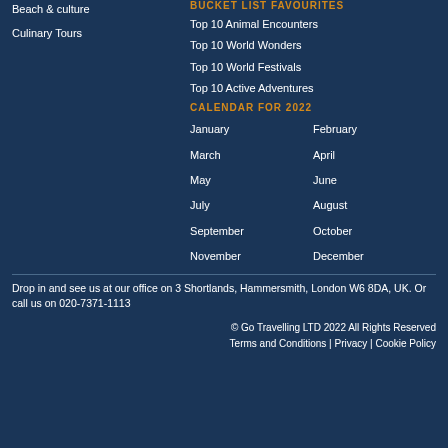Beach & culture
Culinary Tours
BUCKET LIST FAVOURITES
Top 10 Animal Encounters
Top 10 World Wonders
Top 10 World Festivals
Top 10 Active Adventures
CALENDAR FOR 2022
January
February
March
April
May
June
July
August
September
October
November
December
Drop in and see us at our office on 3 Shortlands, Hammersmith, London W6 8DA, UK. Or call us on 020-7371-1113
© Go Travelling LTD 2022 All Rights Reserved
Terms and Conditions | Privacy | Cookie Policy